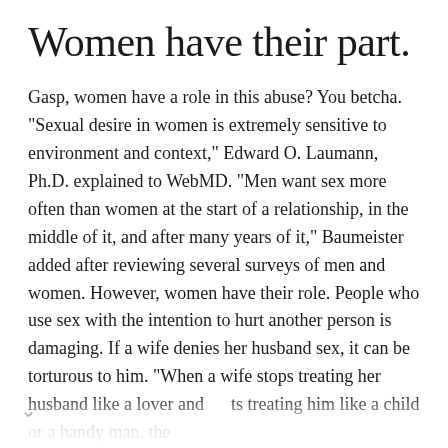Women have their part.
Gasp, women have a role in this abuse? You betcha. "Sexual desire in women is extremely sensitive to environment and context," Edward O. Laumann, Ph.D. explained to WebMD. "Men want sex more often than women at the start of a relationship, in the middle of it, and after many years of it," Baumeister added after reviewing several surveys of men and women. However, women have their role. People who use sex with the intention to hurt another person is damaging. If a wife denies her husband sex, it can be torturous to him. "When a wife stops treating her husband like a lover and starts treating him like a child or a handy man, the